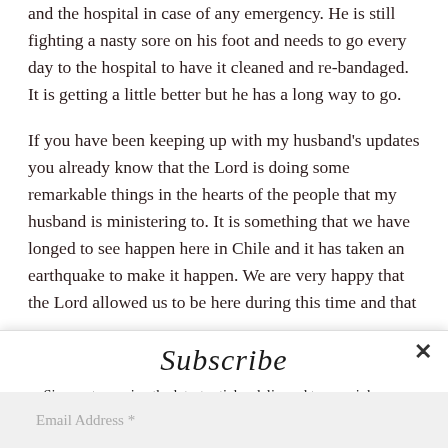and the hospital in case of any emergency. He is still fighting a nasty sore on his foot and needs to go every day to the hospital to have it cleaned and re-bandaged. It is getting a little better but he has a long way to go.
If you have been keeping up with my husband's updates you already know that the Lord is doing some remarkable things in the hearts of the people that my husband is ministering to.  It is something that we have longed to see happen here in Chile and it has taken an earthquake to make it happen.  We are very happy that the Lord allowed us to be here during this time and that
Subscribe
Sign up to receive the latest articles delivered to your inbox as soon as they are posted.
Email Address *